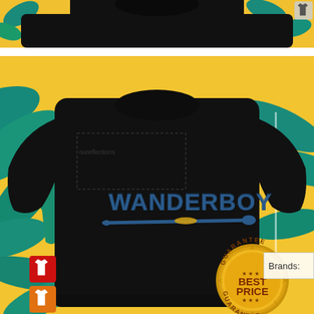[Figure (photo): Partial top view of a black sweatshirt with tropical yellow/teal background, showing top portion near collar area with a small t-shirt icon in upper right corner]
[Figure (photo): Black crewneck sweatshirt with 'WANDERBOY' text and baseball bat graphic printed in blue on the chest, displayed against a tropical yellow/teal leaf background. Bottom left shows three t-shirt color variant icons (red, orange, teal). Bottom right shows a gold 'BEST PRICE GUARANTEE' badge. Right side has a 'Brands:' label partially visible.]